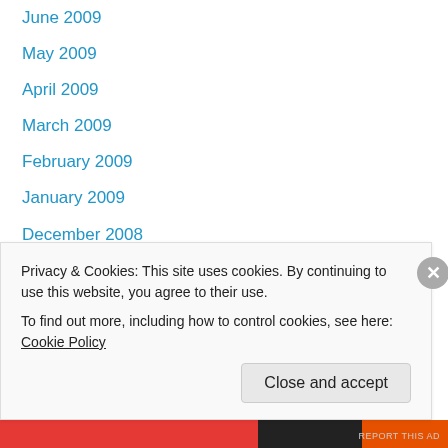June 2009
May 2009
April 2009
March 2009
February 2009
January 2009
December 2008
November 2008
October 2008
Catholic Bible Links
Biblia Clerus
Privacy & Cookies: This site uses cookies. By continuing to use this website, you agree to their use.
To find out more, including how to control cookies, see here: Cookie Policy
Close and accept